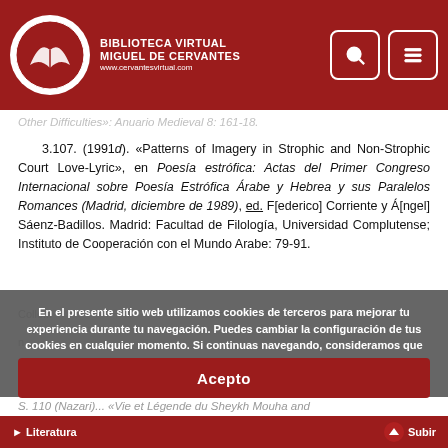BIBLIOTECA VIRTUAL MIGUEL DE CERVANTES www.cervantesvirtual.com
Other Difficulties»: Anuario Medieval 8: 161-18.
3.107. (1991d). «Patterns of Imagery in Strophic and Non-Strophic Court Love-Lyric», en Poesía estrófica: Actas del Primer Congreso Internacional sobre Poesía Estrófica Árabe y Hebrea y sus Paralelos Romances (Madrid, diciembre de 1989), ed. F[ederico] Corriente y Á[ngel] Sáenz-Badillos. Madrid: Facultad de Filología, Universidad Complutense; Instituto de Cooperación con el Mundo Arabe: 79-91.
En el presente sitio web utilizamos cookies de terceros para mejorar tu experiencia durante tu navegación. Puedes cambiar la configuración de tus cookies en cualquier momento. Si continuas navegando, consideramos que aceptas su uso. Puedes obtener más información acerca de nuestra Política de cookies aquí
Acepto
Literatura   ↑ Subir